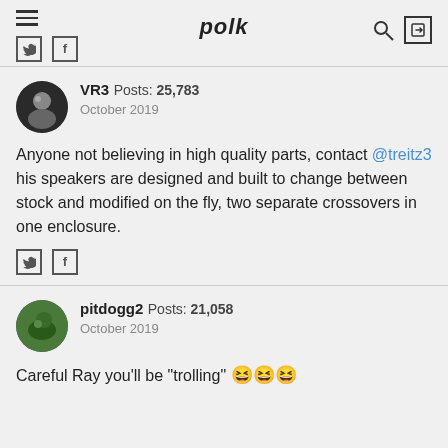polk
VR3  Posts: 25,783  October 2019
Anyone not believing in high quality parts, contact @treitz3 his speakers are designed and built to change between stock and modified on the fly, two separate crossovers in one enclosure.
pitdogg2  Posts: 21,058  October 2019
Careful Ray you'll be "trolling" 😆😆😆